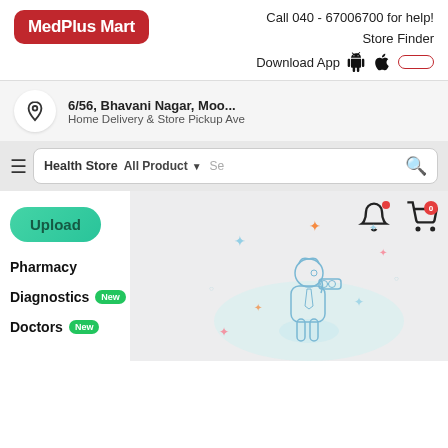[Figure (logo): MedPlus Mart logo in red rounded rectangle]
Call 040 - 67006700 for help!
Store Finder
Download App
6/56, Bhavani Nagar, Moo...
Home Delivery & Store Pickup Ave
Health Store
All Product
Upload
Pharmacy
Diagnostics New
Doctors New
[Figure (illustration): Cartoon character with binoculars surrounded by stars and decorative elements]